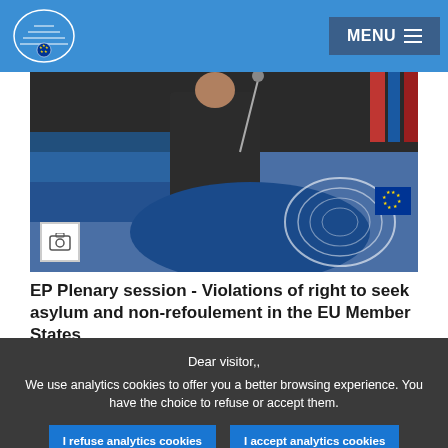European Parliament | MENU
[Figure (photo): Person speaking at a podium in the European Parliament plenary chamber, with EU logo visible on the curved blue podium and blue seating in background.]
EP Plenary session - Violations of right to seek asylum and non-refoulement in the EU Member States
News  4 months ago
Dear visitor,, We use analytics cookies to offer you a better browsing experience. You have the choice to refuse or accept them.
I refuse analytics cookies | I accept analytics cookies
For any information on the other cookies and server logs we use, we invite you to read our data protection policy, our cookies policy and our cookies inventory..